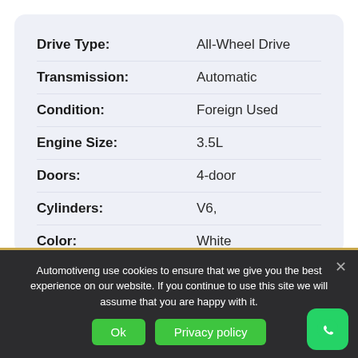| Attribute | Value |
| --- | --- |
| Drive Type: | All-Wheel Drive |
| Transmission: | Automatic |
| Condition: | Foreign Used |
| Engine Size: | 3.5L |
| Doors: | 4-door |
| Cylinders: | V6, |
| Color: | White |
| Grades: | GRADE-A 👑 |
Automotiveng use cookies to ensure that we give you the best experience on our website. If you continue to use this site we will assume that you are happy with it.